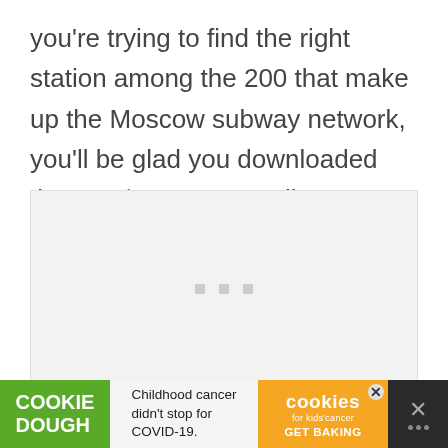you're trying to find the right station among the 200 that make up the Moscow subway network, you'll be glad you downloaded the Yandex app as well.
[Figure (other): Gray placeholder ad box with three small square dots centered inside]
[Figure (other): Bottom advertisement banner: Cookie Dough logo on green background, 'Childhood cancer didn't stop for COVID-19.' text, Cookies for Kids Cancer orange logo with GET BAKING, and dismiss X button]